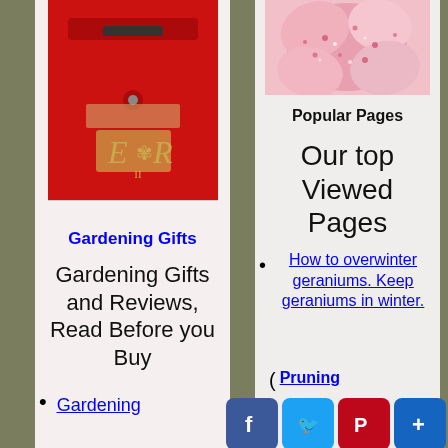[Figure (photo): Red UK Royal Mail post box / pillar box with E II R cypher]
Gardening Gifts
Gardening Gifts and Reviews, Read Before you Buy
Gardening
[Figure (photo): Pink and white speckled flower close-up]
Popular Pages
Our top Viewed Pages
How to overwinter geraniums. Keep geraniums in winter.
Pruning